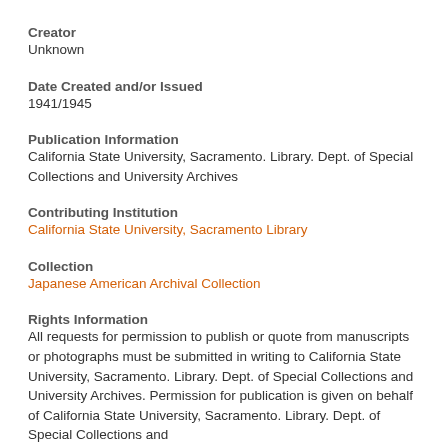Creator
Unknown
Date Created and/or Issued
1941/1945
Publication Information
California State University, Sacramento. Library. Dept. of Special Collections and University Archives
Contributing Institution
California State University, Sacramento Library
Collection
Japanese American Archival Collection
Rights Information
All requests for permission to publish or quote from manuscripts or photographs must be submitted in writing to California State University, Sacramento. Library. Dept. of Special Collections and University Archives. Permission for publication is given on behalf of California State University, Sacramento. Library. Dept. of Special Collections and